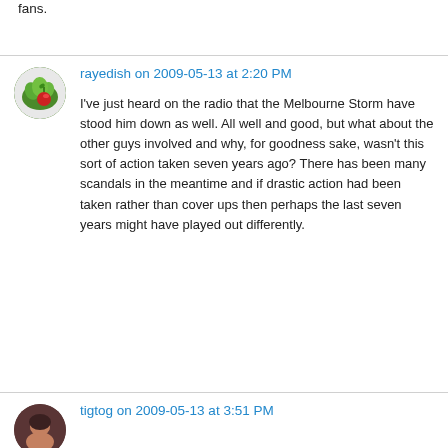fans.
rayedish on 2009-05-13 at 2:20 PM
I've just heard on the radio that the Melbourne Storm have stood him down as well. All well and good, but what about the other guys involved and why, for goodness sake, wasn't this sort of action taken seven years ago? There has been many scandals in the meantime and if drastic action had been taken rather than cover ups then perhaps the last seven years might have played out differently.
tigtog on 2009-05-13 at 3:51 PM